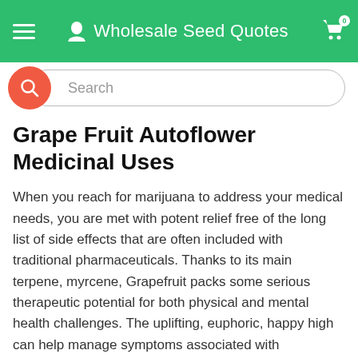Wholesale Seed Quotes
buy now!
Grape Fruit Autoflower Medicinal Uses
When you reach for marijuana to address your medical needs, you are met with potent relief free of the long list of side effects that are often included with traditional pharmaceuticals. Thanks to its main terpene, myrcene, Grapefruit packs some serious therapeutic potential for both physical and mental health challenges. The uplifting, euphoric, happy high can help manage symptoms associated with depression and stress while the increased focus of the mind can help keep you out of the negative thought cycles linked with anxiety. There are formidable anti-inflammatory and analgesic properties